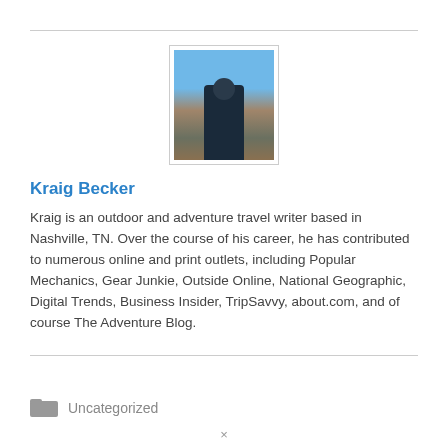[Figure (photo): Profile photo of Kraig Becker, a person standing on a rocky mountainous landscape with a blue sky in the background.]
Kraig Becker
Kraig is an outdoor and adventure travel writer based in Nashville, TN. Over the course of his career, he has contributed to numerous online and print outlets, including Popular Mechanics, Gear Junkie, Outside Online, National Geographic, Digital Trends, Business Insider, TripSavvy, about.com, and of course The Adventure Blog.
Uncategorized